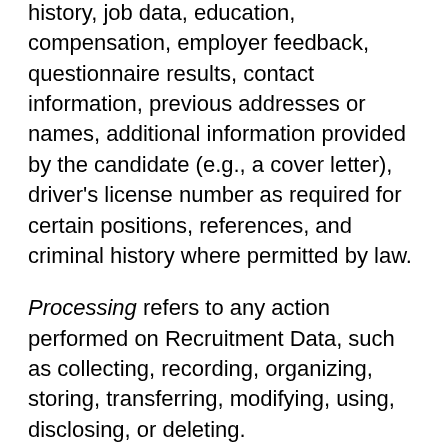history, job data, education, compensation, employer feedback, questionnaire results, contact information, previous addresses or names, additional information provided by the candidate (e.g., a cover letter), driver's license number as required for certain positions, references, and criminal history where permitted by law.
Processing refers to any action performed on Recruitment Data, such as collecting, recording, organizing, storing, transferring, modifying, using, disclosing, or deleting.
Sensitive Recruitment Data is Recruitment Data concerning nationality or citizenship, race or ethnic origin, criminal history, or trade union membership. Citrix does not request or consider information concerning religion, or sexual orientation, or political opinions in connection with recruiting.